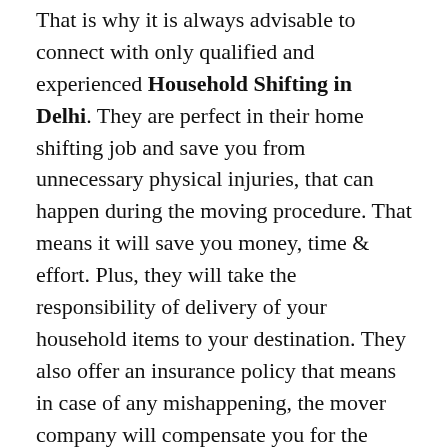That is why it is always advisable to connect with only qualified and experienced Household Shifting in Delhi. They are perfect in their home shifting job and save you from unnecessary physical injuries, that can happen during the moving procedure. That means it will save you money, time & effort. Plus, they will take the responsibility of delivery of your household items to your destination. They also offer an insurance policy that means in case of any mishappening, the mover company will compensate you for the damage.
Therefore, it is significant to trust genuine moving companies for your relocation. If you have any difficulties in finding the enlist movers, you can always visit connectpackers.com sites. It is the best moving service provider portal, where you can find all the registered moving companies in India so, that you can select any companies as per your requirement. Connectpackers also offer free quotations from these